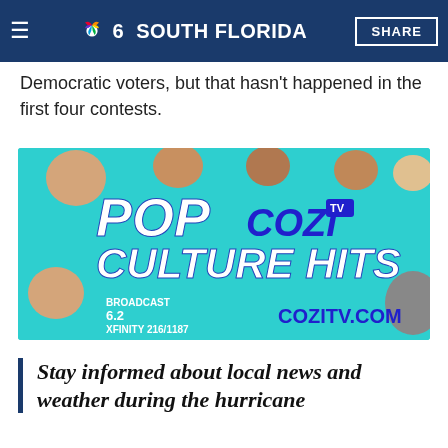NBC 6 South Florida | SHARE
...ed substa... beyond B... Democratic voters, but that hasn't happened in the first four contests.
[Figure (illustration): Cozi TV advertisement banner with turquoise background showing TV personalities and text: POP COZI TV CULTURE HITS, BROADCAST 6.2, XFINITY 216/1187, COZITV.COM]
Stay informed about local news and weather during the hurricane